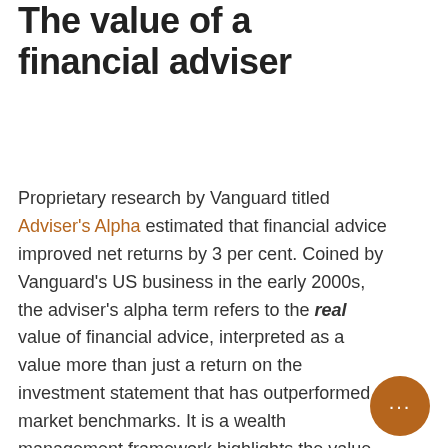The value of a financial adviser
Proprietary research by Vanguard titled Adviser's Alpha estimated that financial advice improved net returns by 3 per cent. Coined by Vanguard's US business in the early 2000s, the adviser's alpha term refers to the real value of financial advice, interpreted as a value more than just a return on the investment statement that has outperformed market benchmarks. It is a wealth management framework highlights the value of good strategic